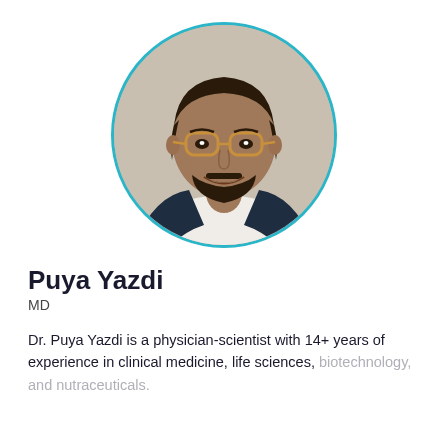[Figure (photo): Circular headshot of Dr. Puya Yazdi, a smiling man with dark hair, beard, and glasses wearing a dark blazer and white shirt, framed by a teal circular border]
Puya Yazdi
MD
Dr. Puya Yazdi is a physician-scientist with 14+ years of experience in clinical medicine, life sciences, biotechnology, and nutraceuticals.